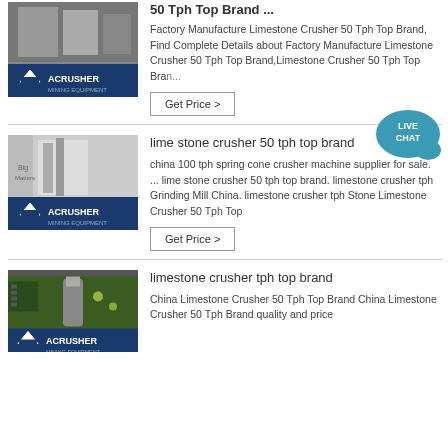[Figure (photo): Industrial crusher machinery with ACRUSHER MINING EQUIPMENT branding]
50 Tph Top Brand ...
Factory Manufacture Limestone Crusher 50 Tph Top Brand, Find Complete Details about Factory Manufacture Limestone Crusher 50 Tph Top Brand,Limestone Crusher 50 Tph Top Bran...
Get Price >
[Figure (photo): Industrial facility interior with ACRUSHER MINING EQUIPMENT branding]
lime stone crusher 50 tph top brand
china 100 tph spring cone crusher machine supplier for sale. ... lime stone crusher 50 tph top brand. limestone crusher tph Grinding Mill China. limestone crusher tph Stone Limestone Crusher 50 Tph Top
Get Price >
[Figure (photo): Green industrial building interior with crusher equipment and ACRUSHER branding]
limestone crusher tph top brand
China Limestone Crusher 50 Tph Top Brand China Limestone Crusher 50 Tph Brand quality and price